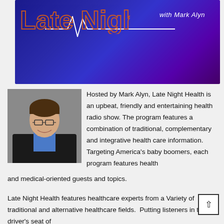[Figure (illustration): Banner graphic for 'Late Night Health with Mark Alyn' radio show — dark blue-to-purple gradient background with a white ECG/heartbeat line graphic and the text 'with Mark Alyn' in white italic font on the right side, and orange/red stylized text on the left (partially visible).]
[Figure (photo): Headshot of Mark Alyn, a middle-aged man with brown hair, wearing glasses, a black suit jacket and blue shirt, smiling, against a grey background.]
Hosted by Mark Alyn, Late Night Health is an upbeat, friendly and entertaining health radio show. The program features a combination of traditional, complementary and integrative health care information. Targeting America's baby boomers, each program features health and medical-oriented guests and topics.
Late Night Health features healthcare experts from a Variety of traditional and alternative healthcare fields.  Putting listeners in the driver's seat of